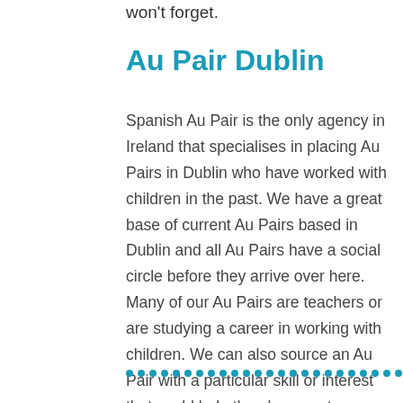won't forget.
Au Pair Dublin
Spanish Au Pair is the only agency in Ireland that specialises in placing Au Pairs in Dublin who have worked with children in the past. We have a great base of current Au Pairs based in Dublin and all Au Pairs have a social circle before they arrive over here. Many of our Au Pairs are teachers or are studying a career in working with children. We can also source an Au Pair with a particular skill or interest that could help the placement.